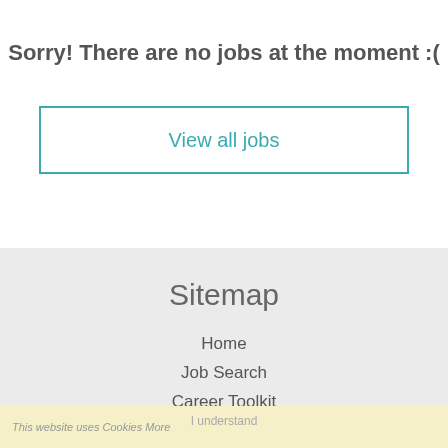Sorry! There are no jobs at the moment :(
View all jobs
Sitemap
Home
Job Search
Career Toolkit
Candidate Zone
Blog
This website uses Cookies More
I understand